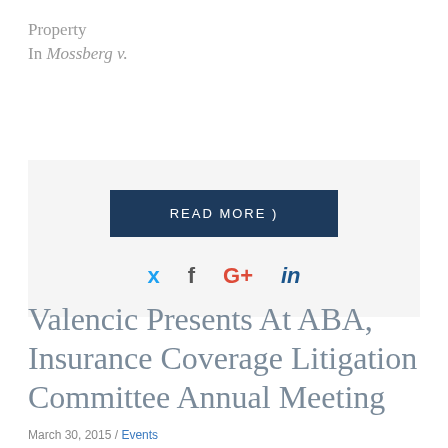Property
In Mossberg v.
[Figure (screenshot): Gray box with dark navy 'READ MORE )' button and social media icons for Twitter, Facebook, Google+, and LinkedIn]
Valencic Presents At ABA, Insurance Coverage Litigation Committee Annual Meeting
March 30, 2015 / Events